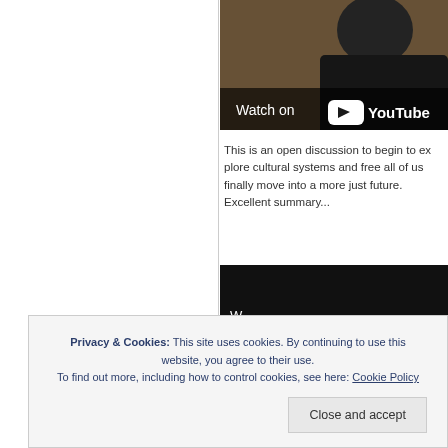[Figure (screenshot): YouTube video thumbnail showing a person in a dark suit against a wood-paneled background, with 'Watch on YouTube' overlay at the bottom]
This is an open discussion to begin to ex... cultural systems and free all of us finally... into a more just future. Excellent summa...
[Figure (screenshot): Second video thumbnail with dark/black background]
Privacy & Cookies: This site uses cookies. By continuing to use this website, you agree to their use. To find out more, including how to control cookies, see here: Cookie Policy
Close and accept